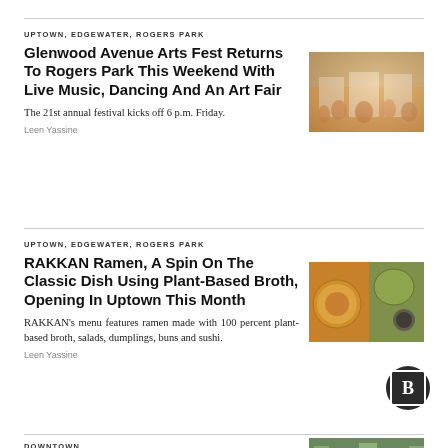UPTOWN, EDGEWATER, ROGERS PARK
Glenwood Avenue Arts Fest Returns To Rogers Park This Weekend With Live Music, Dancing And An Art Fair
The 21st annual festival kicks off 6 p.m. Friday.
Leen Yassine
[Figure (photo): Outdoor arts festival crowd scene with white tents and people]
UPTOWN, EDGEWATER, ROGERS PARK
RAKKAN Ramen, A Spin On The Classic Dish Using Plant-Based Broth, Opening In Uptown This Month
RAKKAN's menu features ramen made with 100 percent plant-based broth, salads, dumplings, buns and sushi.
Leen Yassine
[Figure (photo): Bowl of ramen and dumplings with dipping sauce]
DOWNTOWN
[Figure (photo): Downtown street scene]